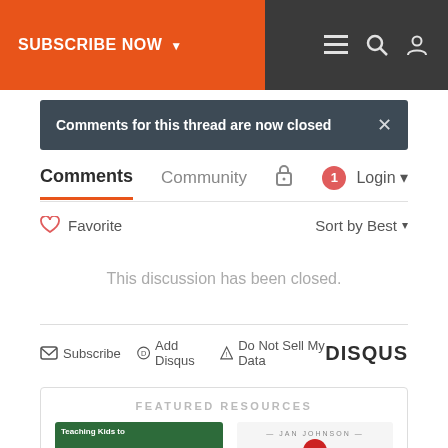SUBSCRIBE NOW
Comments for this thread are now closed
Comments  Community  Login
♡ Favorite    Sort by Best
This discussion has been closed.
Subscribe  Add Disqus  Do Not Sell My Data  DISQUS
FEATURED RESOURCES
[Figure (illustration): Two featured resource thumbnails: left is a green book cover 'Teaching Kids to...', right shows Jan Johnson branding with red circle logo]